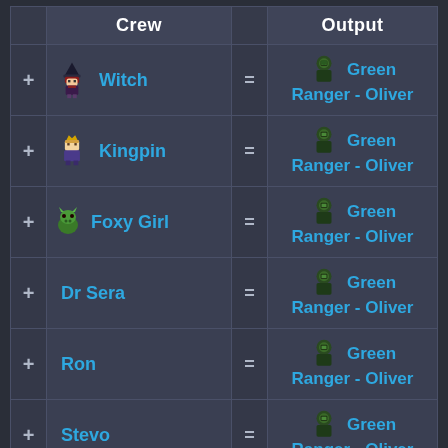|  | Crew |  | Output |
| --- | --- | --- | --- |
| + | Witch | = | Green Ranger - Oliver |
| + | Kingpin | = | Green Ranger - Oliver |
| + | Foxy Girl | = | Green Ranger - Oliver |
| + | Dr Sera | = | Green Ranger - Oliver |
| + | Ron | = | Green Ranger - Oliver |
| + | Stevo | = | Green Ranger - Oliver |